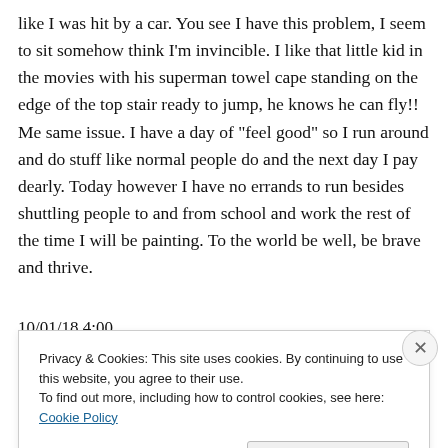like I was hit by a car. You see I have this problem, I seem to sit somehow think I'm invincible. I like that little kid in the movies with his superman towel cape standing on the edge of the top stair ready to jump, he knows he can fly!! Me same issue. I have a day of “feel good” so I run around and do stuff like normal people do and the next day I pay dearly. Today however I have no errands to run besides shuttling people to and from school and work the rest of the time I will be painting. To the world be well, be brave and thrive.
10/01/18 4:00
Privacy & Cookies: This site uses cookies. By continuing to use this website, you agree to their use.
To find out more, including how to control cookies, see here: Cookie Policy
Close and accept